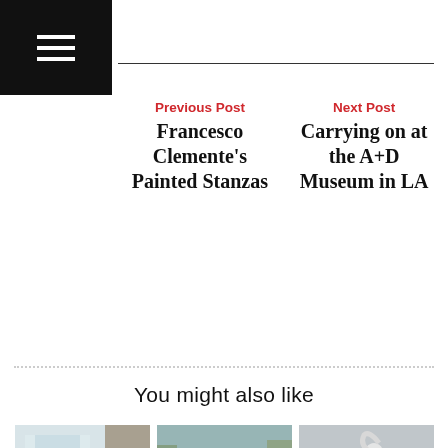[Figure (other): Black navigation bar with hamburger menu icon (three white horizontal lines)]
Previous Post
Francesco Clemente's Painted Stanzas
Next Post
Carrying on at the A+D Museum in LA
You might also like
[Figure (photo): Interior room with large windows, orange chair, dark ottomans, hardwood floor]
A Program to Save 25 Percent on a Daniel Frisch Design
August 19, 2022
[Figure (photo): Outdoor garden with pond/water feature and pathway surrounded by bare trees]
From Metropolis, a Shoreline Restored at the Tide's Inn
[Figure (photo): White heron bird standing against neutral background]
From Big Sky Journal, a Feature on Sculptor Ott Jones